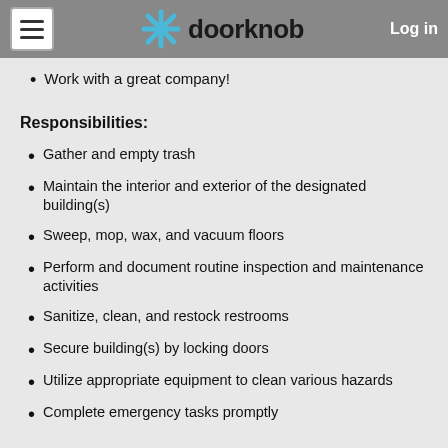doorknob | Log in
Work with a great company!
Responsibilities:
Gather and empty trash
Maintain the interior and exterior of the designated building(s)
Sweep, mop, wax, and vacuum floors
Perform and document routine inspection and maintenance activities
Sanitize, clean, and restock restrooms
Secure building(s) by locking doors
Utilize appropriate equipment to clean various hazards
Complete emergency tasks promptly